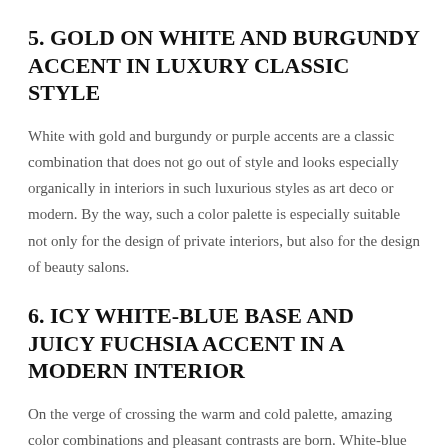5. GOLD ON WHITE AND BURGUNDY ACCENT IN LUXURY CLASSIC STYLE
White with gold and burgundy or purple accents are a classic combination that does not go out of style and looks especially organically in interiors in such luxurious styles as art deco or modern. By the way, such a color palette is especially suitable not only for the design of private interiors, but also for the design of beauty salons.
6. ICY WHITE-BLUE BASE AND JUICY FUCHSIA ACCENT IN A MODERN INTERIOR
On the verge of crossing the warm and cold palette, amazing color combinations and pleasant contrasts are born. White-blue monochrome in the interiors of the apartment in a modern style on the photo enliven the shades of gold and bright raspberry-burgundy elements in the decoration.